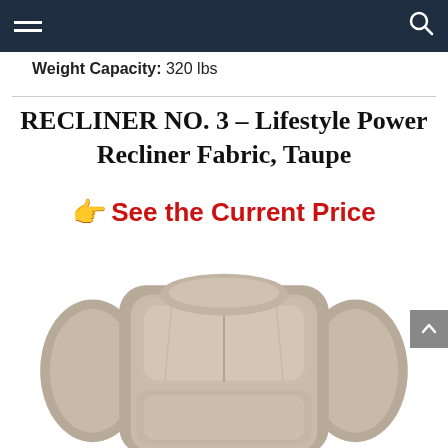[Navigation bar with hamburger menu and search icon]
Weight Capacity: 320 lbs
RECLINER NO. 3 – Lifestyle Power Recliner Fabric, Taupe
👉 See the Current Price
[Figure (photo): Top-down view of a taupe fabric power recliner chair showing the headrest, backrest, and armrests]